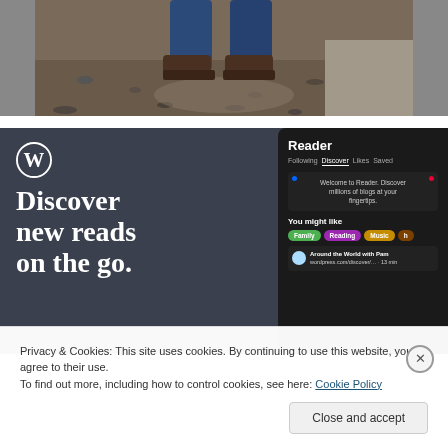[Figure (photo): Bottom portion of a person's legs in jeans and brown boots standing on gravel/dirt ground, cropped at the top of the page.]
[Figure (screenshot): WordPress promotional banner with dark blue-grey background. Left side shows WordPress logo (W in circle) and large white serif text 'Discover new reads on the go.' Right side shows a dark mobile phone UI of the Reader app with tabs: Following, Discover, Likes, Saved. Discover tab is active. Content shows 'Welcome to Reader. Discover millions of blogs at your fingertips.' and 'You might like' section with colored tags: Family (green), Reading (purple), Music (gold). Below is 'Around the World with Pam' blog entry.]
Privacy & Cookies: This site uses cookies. By continuing to use this website, you agree to their use.
To find out more, including how to control cookies, see here: Cookie Policy
Close and accept